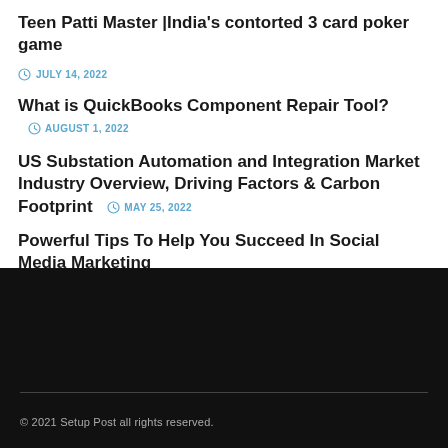Teen Patti Master |India's contorted 3 card poker game
JULY 14, 2022
What is QuickBooks Component Repair Tool?
AUGUST 1, 2022
US Substation Automation and Integration Market Industry Overview, Driving Factors & Carbon Footprint
MAY 25, 2022
Powerful Tips To Help You Succeed In Social Media Marketing
JULY 22, 2022
© 2021 Setup Post all rights reserved.